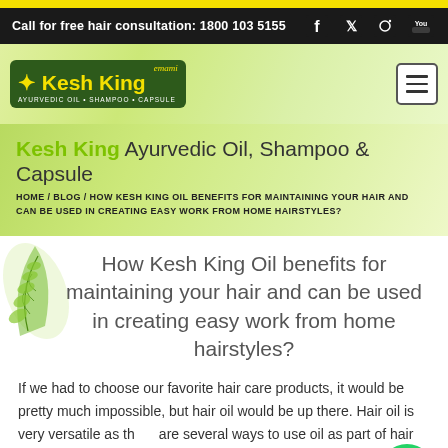Call for free hair consultation: 1800 103 5155
[Figure (logo): Kesh King Ayurvedic Oil Shampoo Capsule logo on green background]
Kesh King Ayurvedic Oil, Shampoo & Capsule
HOME / BLOG / HOW KESH KING OIL BENEFITS FOR MAINTAINING YOUR HAIR AND CAN BE USED IN CREATING EASY WORK FROM HOME HAIRSTYLES?
How Kesh King Oil benefits for maintaining your hair and can be used in creating easy work from home hairstyles?
If we had to choose our favorite hair care products, it would be pretty much impossible, but hair oil would be up there. Hair oil is very versatile as there are several ways to use oil as part of hair care and styling routine. Pick and use our Emami Kesh…